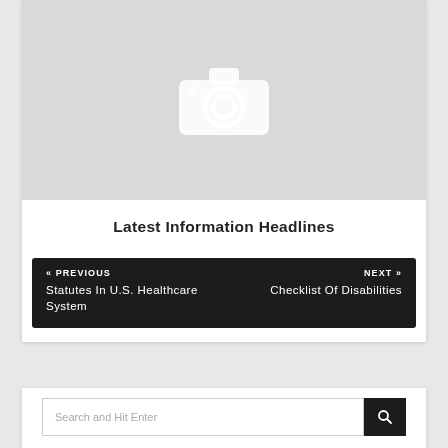[Figure (photo): Placeholder image with camera icon on grey background]
Latest Information Headlines
« PREVIOUS
Statutes In U.S. Healthcare System
NEXT »
Checklist Of Disabilities